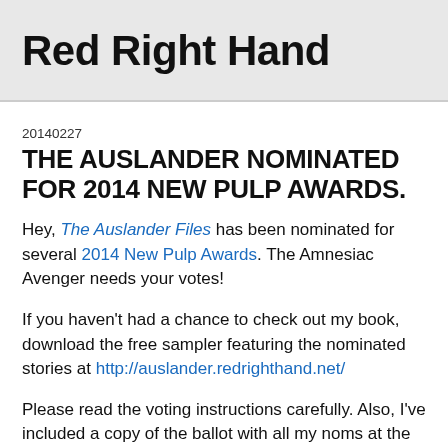Red Right Hand
20140227
THE AUSLANDER NOMINATED FOR 2014 NEW PULP AWARDS.
Hey, The Auslander Files has been nominated for several 2014 New Pulp Awards. The Amnesiac Avenger needs your votes!
If you haven't had a chance to check out my book, download the free sampler featuring the nominated stories at http://auslander.redrighthand.net/
Please read the voting instructions carefully. Also, I've included a copy of the ballot with all my noms at the bottom, but please check out the full nominations list if you're so inclined – particularly my comics-reading friends, many